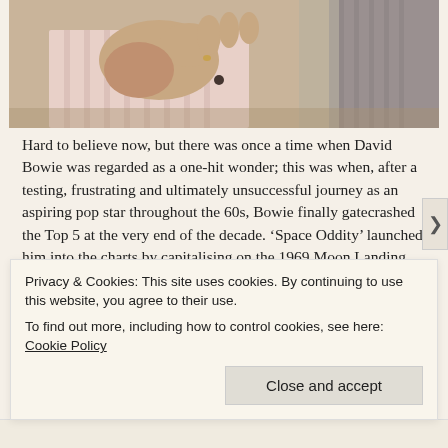[Figure (photo): Close-up photo of a person's hands, wearing a pink/white striped long-sleeve shirt, with grey hair visible on the right side. Shot near a window.]
Hard to believe now, but there was once a time when David Bowie was regarded as a one-hit wonder; this was when, after a testing, frustrating and ultimately unsuccessful journey as an aspiring pop star throughout the 60s, Bowie finally gatecrashed the Top 5 at the very end of the decade. ‘Space Oddity’ launched him into the charts by capitalising on the 1969 Moon Landing, even if this atmospheric and unsettling song chronicling the doomed mission of an astronaut lost in space was at odds with the global euphoria that greeted Neil Armstrong’s achievement. It marked him out as one to watch, which
Privacy & Cookies: This site uses cookies. By continuing to use this website, you agree to their use.
To find out more, including how to control cookies, see here: Cookie Policy
Close and accept